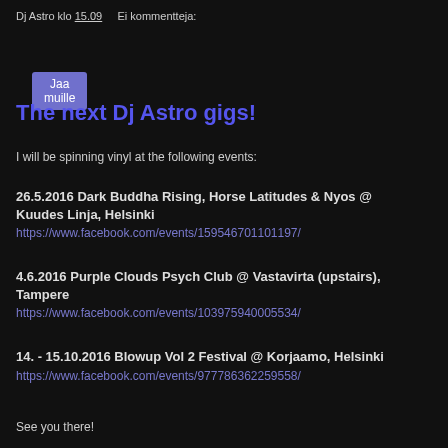Dj Astro klo 15.09   Ei kommentteja:
Jaa muille
The next Dj Astro gigs!
I will be spinning vinyl at the following events:
26.5.2016 Dark Buddha Rising, Horse Latitudes & Nyos @ Kuudes Linja, Helsinki
https://www.facebook.com/events/159546701101197/
4.6.2016 Purple Clouds Psych Club @ Vastavirta (upstairs), Tampere
https://www.facebook.com/events/103975940005534/
14. - 15.10.2016 Blowup Vol 2 Festival @ Korjaamo, Helsinki
https://www.facebook.com/events/977786362259558/
See you there!